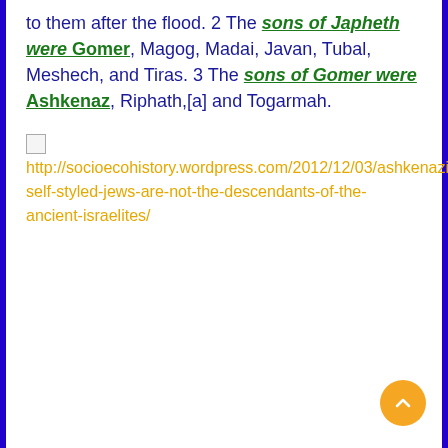to them after the flood. 2 The sons of Japheth were Gomer, Magog, Madai, Javan, Tubal, Meshech, and Tiras. 3 The sons of Gomer were Ashkenaz, Riphath,[a] and Togarmah.
[Figure (other): Broken image placeholder followed by URL link text: http://socioecohistory.wordpress.com/2012/12/03/ashkenazis-self-styled-jews-are-not-the-descendants-of-the-ancient-israelites/]